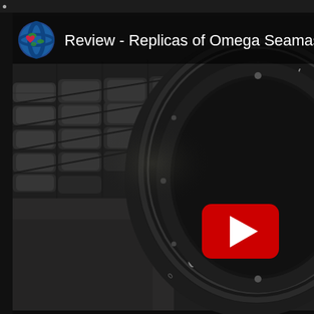[Figure (screenshot): YouTube video thumbnail/embed showing a dark close-up photo of an Omega Seamaster 007 watch with metal bracelet links visible on the left and the watch dial/bezel on the right. A YouTube play button (red rectangle with white triangle) is overlaid in the center-right. At the top is a channel header bar with a globe-heart emoji icon and the title 'Review - Replicas of Omega Seamaster 007 - mo' in white text.]